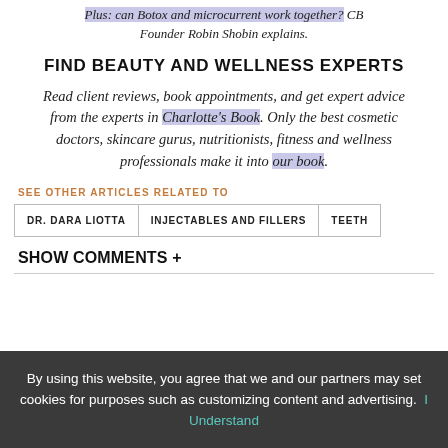Plus: can Botox and microcurrent work together? CB Founder Robin Shobin explains.
FIND BEAUTY AND WELLNESS EXPERTS
Read client reviews, book appointments, and get expert advice from the experts in Charlotte's Book. Only the best cosmetic doctors, skincare gurus, nutritionists, fitness and wellness professionals make it into our book.
SEE OTHER ARTICLES RELATED TO
DR. DARA LIOTTA | INJECTABLES AND FILLERS | TEETH
SHOW COMMENTS +
By using this website, you agree that we and our partners may set cookies for purposes such as customizing content and advertising. I Understand